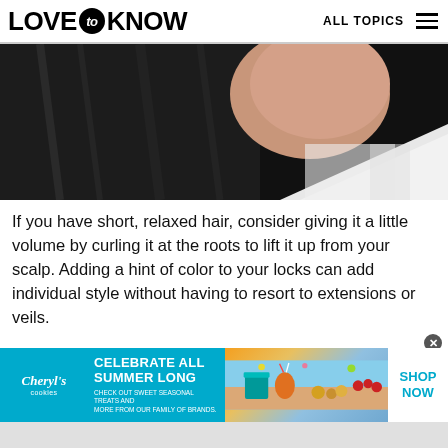LOVE to KNOW   ALL TOPICS
[Figure (photo): Close-up photo of a person showing neck/shoulder area with dark hair on left side and white clothing on right side]
If you have short, relaxed hair, consider giving it a little volume by curling it at the roots to lift it up from your scalp. Adding a hint of color to your locks can add individual style without having to resort to extensions or veils.
[Figure (infographic): Advertisement banner for Cheryl's Cookies: CELEBRATE ALL SUMMER LONG - CHECK OUT SWEET SEASONAL TREATS AND MORE FROM OUR FAMILY OF BRANDS. SHOP NOW]